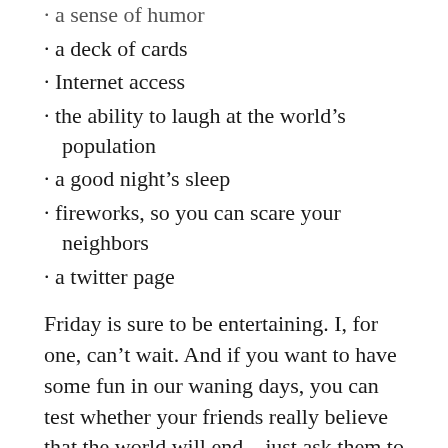· a sense of humor
· a deck of cards
· Internet access
· the ability to laugh at the world's population
· a good night's sleep
· fireworks, so you can scare your neighbors
· a twitter page
Friday is sure to be entertaining. I, for one, can't wait. And if you want to have some fun in our waning days, you can test whether your friends really believe that the world will end – just ask them to sign all of their assets over to you on Thursday.
But hey, on the bright side, if the world really does end, I guess that means that my C in